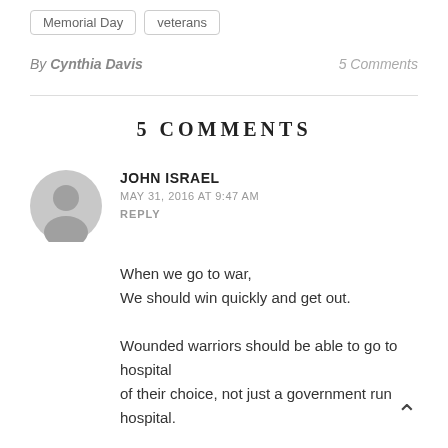Memorial Day
veterans
By Cynthia Davis
5 Comments
5 COMMENTS
JOHN ISRAEL
MAY 31, 2016 AT 9:47 AM
REPLY
When we go to war,
We should win quickly and get out.

Wounded warriors should be able to go to hospital
of their choice, not just a government run hospital.